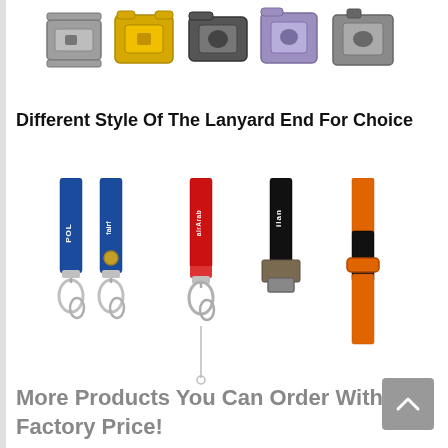[Figure (photo): Five plastic buckle/clip hardware pieces in different colors: gray, yellow, dark gray, purple, and gray, shown against a white background. These are lanyard end hardware components.]
Different Style Of The Lanyard End For Choice
[Figure (photo): Five lanyards with different styles shown hanging down: two blue lanyards (one with 'POL' text, one with 'fairf' branding and a gold metal clasp), one red lanyard with 'airArab' text, one black lanyard with 'ilan' text and a square metal clasp, and one orange/black lanyard with a plastic clip. Each lanyard has metal swivel hooks or clips at the bottom.]
More Products You Can Order With Factory Price!